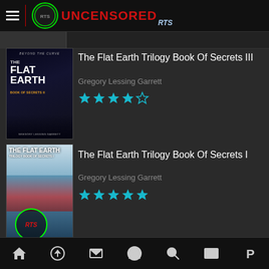UNCENSORED RTS
[Figure (screenshot): Partially visible book listing at top]
The Flat Earth Trilogy Book Of Secrets III
Gregory Lessing Garrett
[Figure (illustration): Book cover for The Flat Earth Book of Secrets III - dark background with earth/landscape]
[Figure (illustration): Star rating: 4 out of 5 stars (teal colored)]
The Flat Earth Trilogy Book Of Secrets I
Gregory Lessing Garrett
[Figure (illustration): Book cover for The Flat Earth Trilogy Book Of Secrets I - ship/arctic scene]
[Figure (illustration): Star rating: 5 out of 5 stars (teal colored)]
[Figure (logo): Red LIVE STREAM badge with wifi icon]
READ FREE BOOKS
Navigation bar with home, upload, mail, profile, search, film, PayPal icons